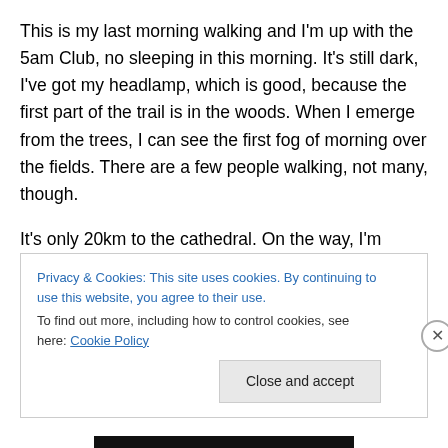This is my last morning walking and I'm up with the 5am Club, no sleeping in this morning. It's still dark, I've got my headlamp, which is good, because the first part of the trail is in the woods. When I emerge from the trees, I can see the first fog of morning over the fields. There are a few people walking, not many, though.
It's only 20km to the cathedral. On the way, I'm thankful that the road is not too busy. I greet pilgrims as I pass, some I know, most I've never seen. I try to be as much in the walking moment as possible for these last few steps. I
Privacy & Cookies: This site uses cookies. By continuing to use this website, you agree to their use.
To find out more, including how to control cookies, see here: Cookie Policy